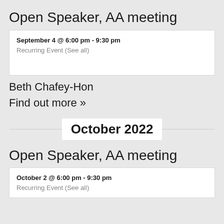Open Speaker, AA meeting
September 4 @ 6:00 pm - 9:30 pm
Recurring Event (See all)
Beth Chafey-Hon
Find out more »
October 2022
Open Speaker, AA meeting
October 2 @ 6:00 pm - 9:30 pm
Recurring Event (See all)